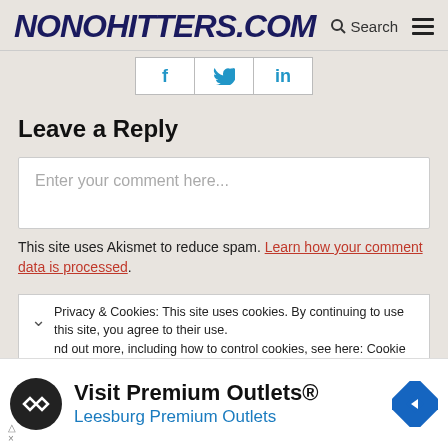NONOHITTERS.COM
[Figure (other): Social share buttons: Facebook (f), Twitter (bird), LinkedIn (in)]
Leave a Reply
Enter your comment here...
This site uses Akismet to reduce spam. Learn how your comment data is processed.
Privacy & Cookies: This site uses cookies. By continuing to use this site, you agree to their use. nd out more, including how to control cookies, see here: Cookie
[Figure (other): Advertisement: Visit Premium Outlets® — Leesburg Premium Outlets with logo and navigation icon]